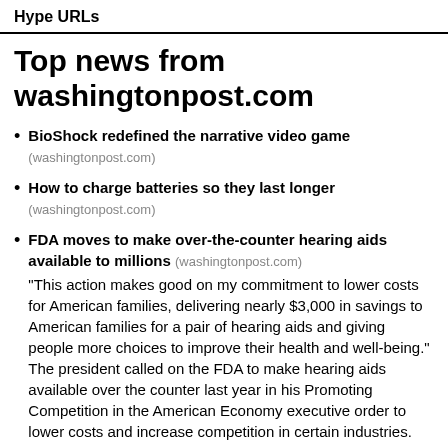Hype URLs
Top news from washingtonpost.com
BioShock redefined the narrative video game (washingtonpost.com)
How to charge batteries so they last longer (washingtonpost.com)
FDA moves to make over-the-counter hearing aids available to millions (washingtonpost.com) “This action makes good on my commitment to lower costs for American families, delivering nearly $3,000 in savings to American families for a pair of hearing aids and giving people more choices to improve their health and well-being.” The president called on the FDA to make hearing aids available over the counter last year in his Promoting Competition in the American Economy executive order to lower costs and increase competition in certain industries.
At Google...